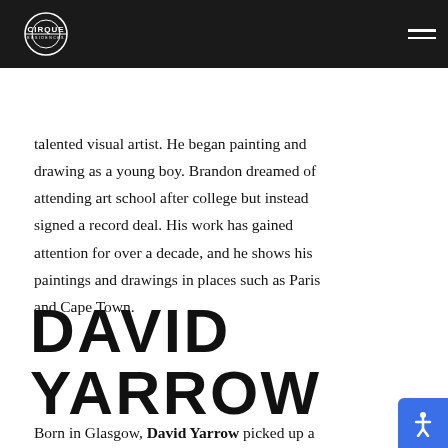Cirque Residences — navigation header
Recognized as the frontrunner of the famed band Incubus, Brandon Boyd is also a talented visual artist. He began painting and drawing as a young boy. Brandon dreamed of attending art school after college but instead signed a record deal. His work has gained attention for over a decade, and he shows his paintings and drawings in places such as Paris and Cape Town.
DAVID YARROW
Born in Glasgow, David Yarrow picked up a